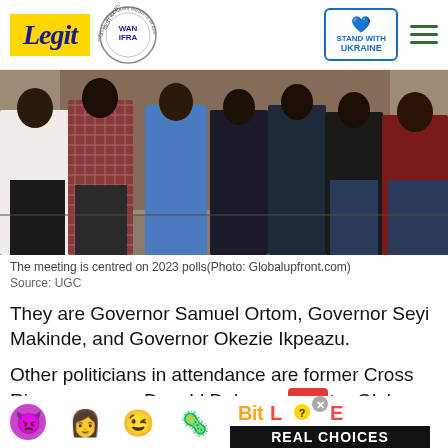Legit — WAN-IFRA 2021 Best News Website in Africa — Stand With Ukraine
[Figure (photo): Group photo of several men standing indoors, the meeting centred on 2023 polls]
The meeting is centred on 2023 polls(Photo: Globalupfront.com)
Source: UGC
They are Governor Samuel Ortom, Governor Seyi Makinde, and Governor Okezie Ikpeazu.
Other politicians in attendance are former Cross River governor, Donald Duke, and Senator Olaka Nwogu.
[Figure (infographic): BitLife Real Choices advertisement banner with emoji characters]